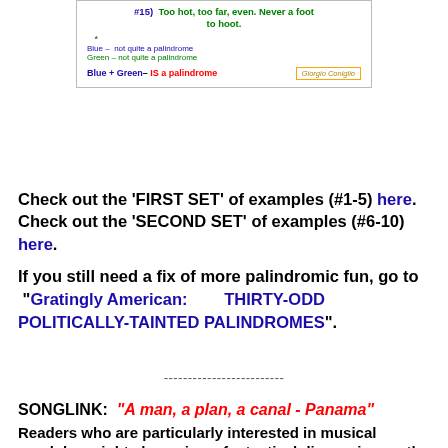[Figure (other): Image box showing palindrome example #15: 'Too hot, too far, even. Never a foot to hoot.' with blue and green color annotations, plus a signature box 'Giorgio Coniglio']
Check out the 'FIRST SET' of examples (#1-5) here.
Check out the 'SECOND SET' of examples (#6-10) here.
If you still need a fix of more palindromic fun, go to "Gratingly American: THIRTY-ODD POLITICALLY-TAINTED PALINDROMES".
-------------------------
SONGLINK: "A man, a plan, a canal - Panama"
Readers who are particularly interested in musical wordplay might also enjoy a fantastical discussion on the development of